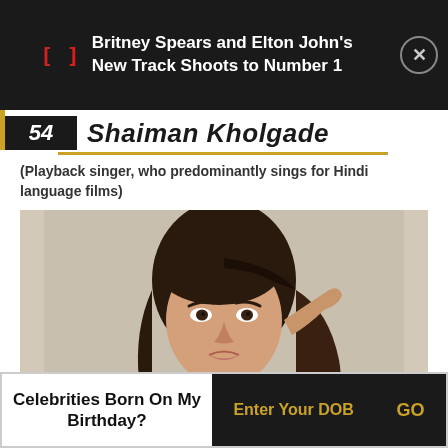Britney Spears and Elton John's New Track Shoots to Number 1
54 Shaiman Kholgade
(Playback singer, who predominantly sings for Hindi language films)
[Figure (photo): Portrait photo of Shaiman Kholgade, a young woman with long dark hair against a light background]
Celebrities Born On My Birthday? Enter Your DOB GO